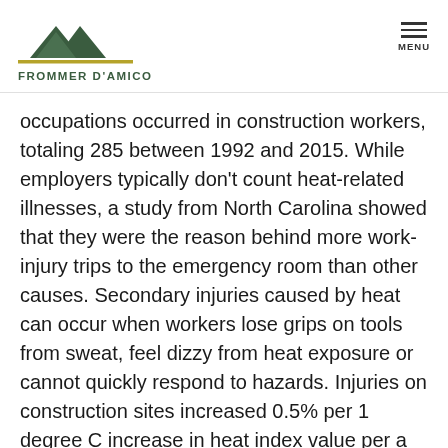FROMMER D'AMICO
occupations occurred in construction workers, totaling 285 between 1992 and 2015. While employers typically don't count heat-related illnesses, a study from North Carolina showed that they were the reason behind more work-injury trips to the emergency room than other causes. Secondary injuries caused by heat can occur when workers lose grips on tools from sweat, feel dizzy from heat exposure or cannot quickly respond to hazards. Injuries on construction sites increased 0.5% per 1 degree C increase in heat index value per a Washington study.